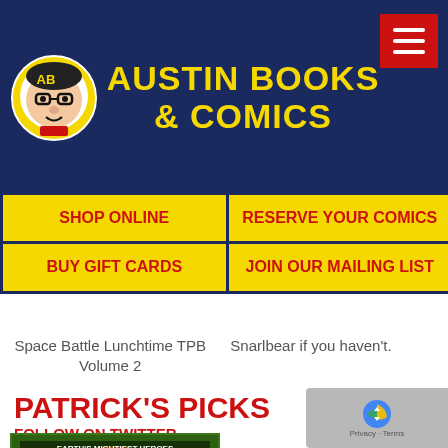[Figure (logo): Austin Books & Comics header with mascot logo, site title in yellow on dark blue, and red hamburger menu button]
SHOP ONLINE
RESERVE YOUR COMICS
BUY GIFT CARDS
JOIN OUR MAILING LIST
Space Battle Lunchtime TPB Volume 2
Snarlbear if you haven't.
PATRICK'S PICKS
FOLLOW ON TWITTER
[Figure (photo): Avengers Earth's Mightiest Heroes trade paperback book cover]
[Figure (logo): Google reCAPTCHA badge with Privacy and Terms text]